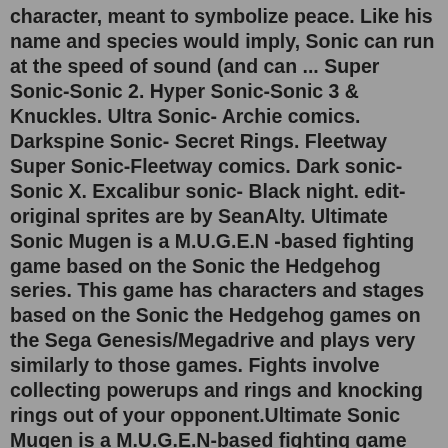character, meant to symbolize peace. Like his name and species would imply, Sonic can run at the speed of sound (and can ... Super Sonic-Sonic 2. Hyper Sonic-Sonic 3 & Knuckles. Ultra Sonic- Archie comics. Darkspine Sonic- Secret Rings. Fleetway Super Sonic-Fleetway comics. Dark sonic- Sonic X. Excalibur sonic- Black night. edit-original sprites are by SeanAlty. Ultimate Sonic Mugen is a M.U.G.E.N -based fighting game based on the Sonic the Hedgehog series. This game has characters and stages based on the Sonic the Hedgehog games on the Sega Genesis/Megadrive and plays very similarly to those games. Fights involve collecting powerups and rings and knocking rings out of your opponent.Ultimate Sonic Mugen is a M.U.G.E.N-based fighting game based on the Sonic the Hedgehog series. This game has characters and stages based on the Sonic the Hedgehog games on the Sega Genesis/Megadrive and plays very similarly to those games. Fights involve collecting powerups and rings and knocking rings out of your opponent.